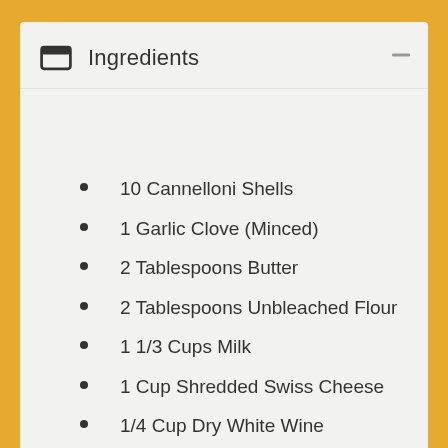Ingredients
10 Cannelloni Shells
1 Garlic Clove (Minced)
2 Tablespoons Butter
2 Tablespoons Unbleached Flour
1 1/3 Cups Milk
1 Cup Shredded Swiss Cheese
1/4 Cup Dry White Wine
1 Beaten Egg
1 Cup Ricotta Cheese
1 Cup Shredded Mozzarella